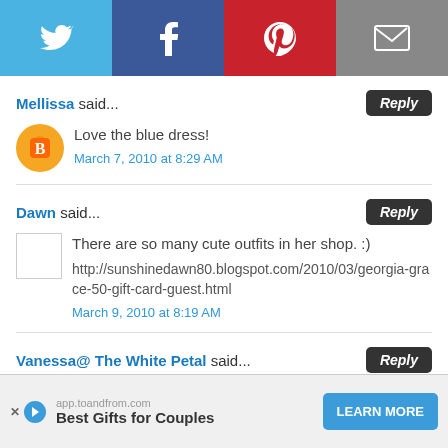[Figure (infographic): Social share bar with Twitter, Facebook, Pinterest, and Email icons]
Mellissa said... Reply
Love the blue dress!
March 7, 2010 at 8:29 AM
Dawn said... Reply
There are so many cute outfits in her shop. :)
http://sunshinedawn80.blogspot.com/2010/03/georgia-grace-50-gift-card-guest.html
March 9, 2010 at 8:19 AM
Vanessa@ The White Petal said... Reply
[Figure (infographic): Advertisement banner: app.toandfrom.com - Best Gifts for Couples - LEARN MORE button]